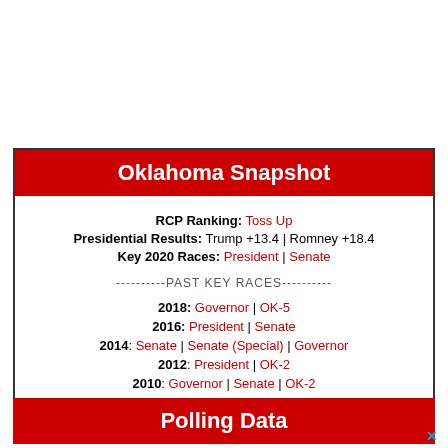Oklahoma Snapshot
RCP Ranking: Toss Up
Presidential Results: Trump +13.4 | Romney +18.4
Key 2020 Races: President | Senate
----------PAST KEY RACES----------
2018: Governor | OK-5
2016: President | Senate
2014: Senate | Senate (Special) | Governor
2012: President | OK-2
2010: Governor | Senate | OK-2
2008: President | Senate
Polling Data